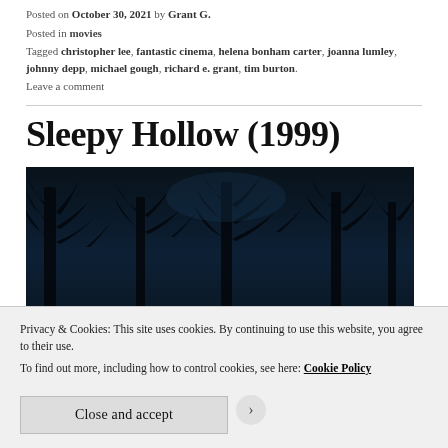Posted on October 30, 2021 by Grant G.
Posted in movies
Tagged christopher lee, fantastic cinema, helena bonham carter, joanna lumley, johnny depp, michael gough, richard e. grant, tim burton.
Leave a comment
Sleepy Hollow (1999)
[Figure (photo): Dark night scene with bare tree silhouettes against a deep blue-black sky, appearing to be a still from or promotional image for Sleepy Hollow (1999)]
Privacy & Cookies: This site uses cookies. By continuing to use this website, you agree to their use.
To find out more, including how to control cookies, see here: Cookie Policy
Close and accept